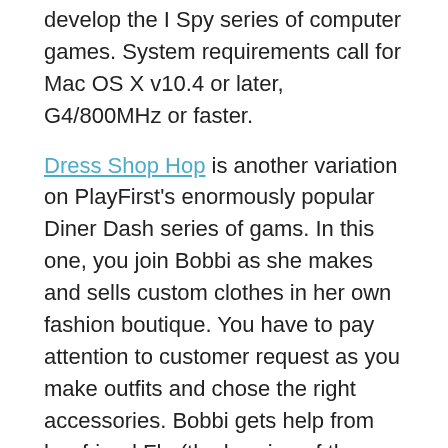develop the I Spy series of computer games. System requirements call for Mac OS X v10.4 or later, G4/800MHz or faster.
Dress Shop Hop is another variation on PlayFirst's enormously popular Diner Dash series of gams. In this one, you join Bobbi as she makes and sells custom clothes in her own fashion boutique. You have to pay attention to customer request as you make outfits and chose the right accessories. Bobbi gets help from her friend Flo (the heroine of the Diner Dash series), of course.
The game features two different play modes, Career and Endless, 50 levels, five unique shops and 11 customer types. System requirements are the same as The Nightshift Code: Mac OS X v10.4 or later,